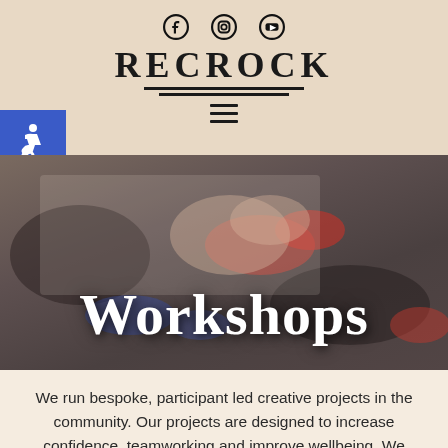RECROCK — website header with social icons (Facebook, Instagram, YouTube), logo, hamburger menu, and accessibility badge
[Figure (photo): A hand painting with fingers on paper with colourful paint marks (red, blue, black). Overlaid with white bold text 'Workshops'.]
Workshops
We run bespoke, participant led creative projects in the community. Our projects are designed to increase confidence, teamworking and improve wellbeing. We always work with the